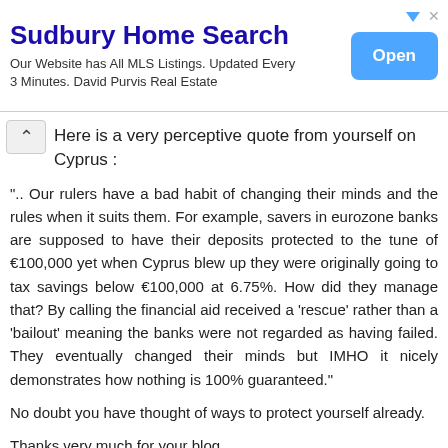[Figure (infographic): Advertisement banner for Sudbury Home Search with title, subtitle, and Open button]
Here is a very perceptive quote from yourself on Cyprus :
".. Our rulers have a bad habit of changing their minds and the rules when it suits them. For example, savers in eurozone banks are supposed to have their deposits protected to the tune of €100,000 yet when Cyprus blew up they were originally going to tax savings below €100,000 at 6.75%. How did they manage that? By calling the financial aid received a 'rescue' rather than a 'bailout' meaning the banks were not regarded as having failed. They eventually changed their minds but IMHO it nicely demonstrates how nothing is 100% guaranteed."
No doubt you have thought of ways to protect yourself already.
Thanks very much for your blog.